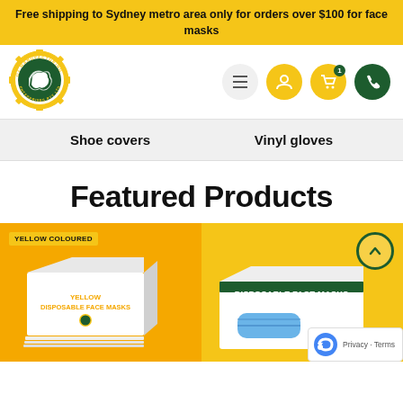Free shipping to Sydney metro area only for orders over $100 for face masks
[Figure (logo): OZ Manufacturing Enterprises Pty Ltd logo — circular gear border, yellow, with Australian map in green center]
[Figure (screenshot): Navigation icons: hamburger menu (grey), user icon (yellow), cart icon with badge 1 (yellow), phone icon (dark green)]
Shoe covers
Vinyl gloves
Featured Products
[Figure (photo): Yellow background product photo showing a white box labelled YELLOW DISPOSABLE FACE MASKS with yellow text, badged YELLOW COLOURED]
[Figure (photo): Yellow background product photo showing a white box labelled DISPOSABLE FACE MASKS with a blue face mask visible, with back-to-top arrow button and reCAPTCHA badge]